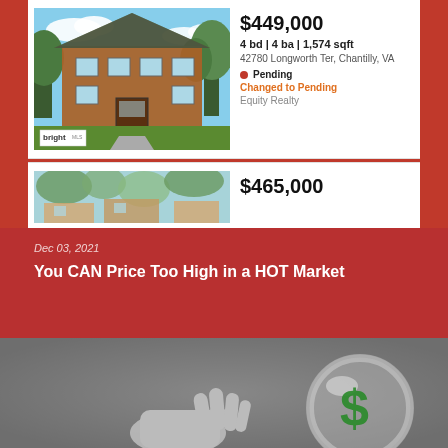[Figure (photo): Photo of a brick townhouse with green lawn and trees, bright sky, with bright MLS badge in corner]
$449,000
4 bd | 4 ba | 1,574 sqft
42780 Longworth Ter, Chantilly, VA
Pending
Changed to Pending
Equity Realty
[Figure (photo): Partial photo of another listing showing houses with trees]
$465,000
Dec 03, 2021
You CAN Price Too High in a HOT Market
[Figure (photo): Black and white photo of a hand reaching toward a glass sphere containing a dollar sign]